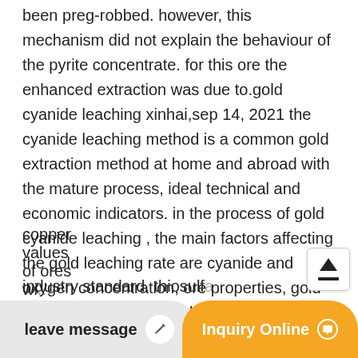been preg-robbed. however, this mechanism did not explain the behaviour of the pyrite concentrate. for this ore the enhanced extraction was due to.gold cyanide leaching xinhai,sep 14, 2021 the cyanide leaching method is a common gold extraction method at home and abroad with the mature process, ideal technical and economic indicators. in the process of gold cyanide leaching , the main factors affecting the gold leaching rate are cyanide and oxygen concentration, ore properties, gold particle size, pulp ph value, slime content.gold extraction wikipedia,if the gold can not be concentrated for smelting, then it is leached by an aqueous solution . the cyanide process is the industry standard. thiosulf...
copper values of ores wi...